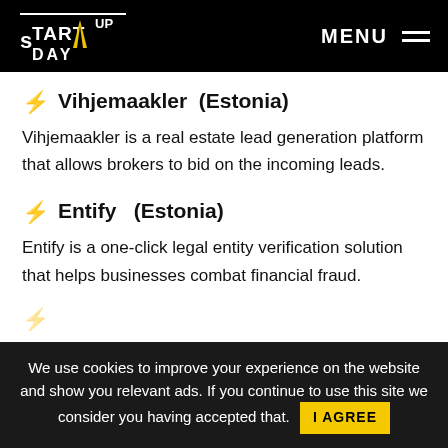Startup Day — MENU
Vihjemaakler  (Estonia)
Vihjemaakler is a real estate lead generation platform that allows brokers to bid on the incoming leads.
Entify  (Estonia)
Entify is a one-click legal entity verification solution that helps businesses combat financial fraud.
We use cookies to improve your experience on the website and show you relevant ads. If you continue to use this site we consider you having accepted that. I AGREE